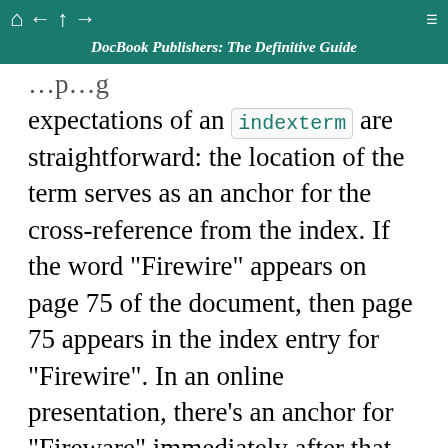DocBook Publishers: The Definitive Guide
expectations of an indexterm are straightforward: the location of the term serves as an anchor for the cross-reference from the index. If the word “Firewire” appears on page 75 of the document, then page 75 appears in the index entry for “Firewire”. In an online presentation, there’s an anchor for “Fireware” immediately after that word in the paragraph.